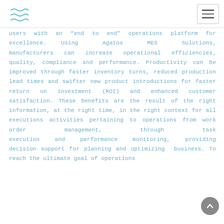users with an “end to end” operations platform for excellence. Using Agatos MES Solutions, manufacturers can increase operational efficiencies, quality, compliance and performance. Productivity can be improved through faster inventory turns, reduced production lead times and swifter new product introductions for faster return on investment (ROI) and enhanced customer satisfaction. These benefits are the result of the right information, at the right time, in the right context for all executions activities pertaining to operations from work order management, through task execution and performance monitoring, providing decision support for planning and optimizing business. To reach the ultimate goal of operations